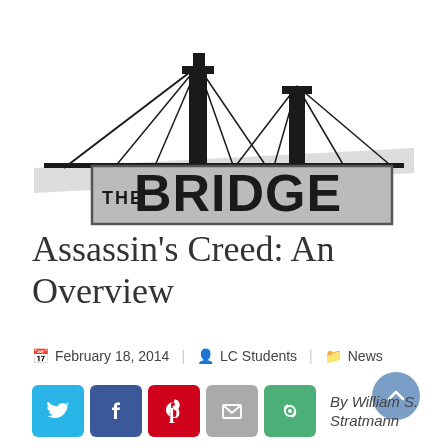[Figure (logo): The Bridge newspaper logo with suspension bridge illustration above text 'THE BRIDGE' in bold on gray rectangle background]
Assassin's Creed: An Overview
February 18, 2014   LC Students   News
By William S. Stratmann